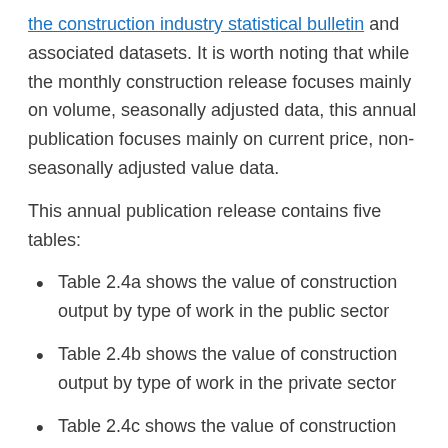the construction industry statistical bulletin and associated datasets. It is worth noting that while the monthly construction release focuses mainly on volume, seasonally adjusted data, this annual publication focuses mainly on current price, non-seasonally adjusted value data.
This annual publication release contains five tables:
Table 2.4a shows the value of construction output by type of work in the public sector
Table 2.4b shows the value of construction output by type of work in the private sector
Table 2.4c shows the value of construction output